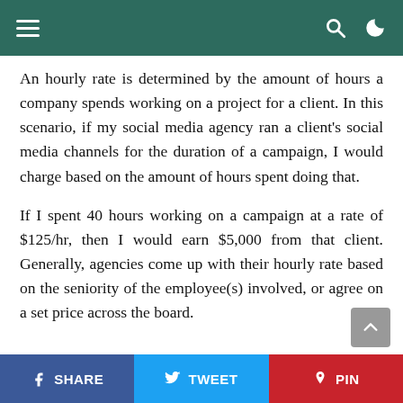Navigation bar with menu, search, and dark-mode icons
An hourly rate is determined by the amount of hours a company spends working on a project for a client. In this scenario, if my social media agency ran a client's social media channels for the duration of a campaign, I would charge based on the amount of hours spent doing that.
If I spent 40 hours working on a campaign at a rate of $125/hr, then I would earn $5,000 from that client. Generally, agencies come up with their hourly rate based on the seniority of the employee(s) involved, or agree on a set price across the board.
SHARE | TWEET | PIN